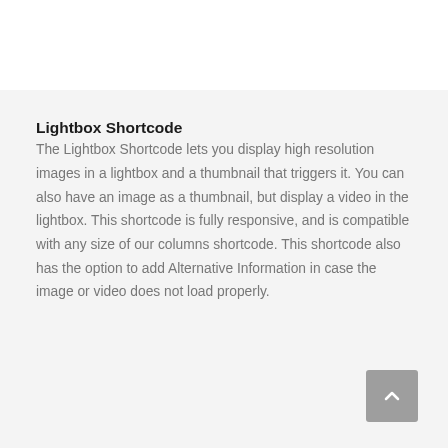Lightbox Shortcode
The Lightbox Shortcode lets you display high resolution images in a lightbox and a thumbnail that triggers it. You can also have an image as a thumbnail, but display a video in the lightbox. This shortcode is fully responsive, and is compatible with any size of our columns shortcode. This shortcode also has the option to add Alternative Information in case the image or video does not load properly.